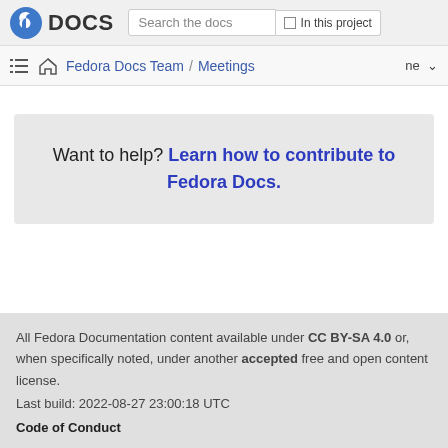Fedora DOCS | Search the docs | In this project
Fedora Docs Team / Meetings   ne
Want to help? Learn how to contribute to Fedora Docs.
All Fedora Documentation content available under CC BY-SA 4.0 or, when specifically noted, under another accepted free and open content license.
Last build: 2022-08-27 23:00:18 UTC
Code of Conduct